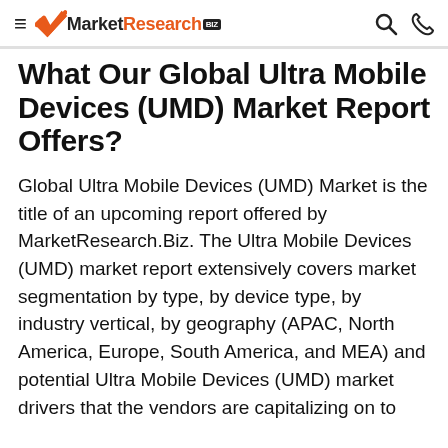MarketResearch.biz
What Our Global Ultra Mobile Devices (UMD) Market Report Offers?
Global Ultra Mobile Devices (UMD) Market is the title of an upcoming report offered by MarketResearch.Biz. The Ultra Mobile Devices (UMD) market report extensively covers market segmentation by type, by device type, by industry vertical, by geography (APAC, North America, Europe, South America, and MEA) and potential Ultra Mobile Devices (UMD) market drivers that the vendors are capitalizing on to